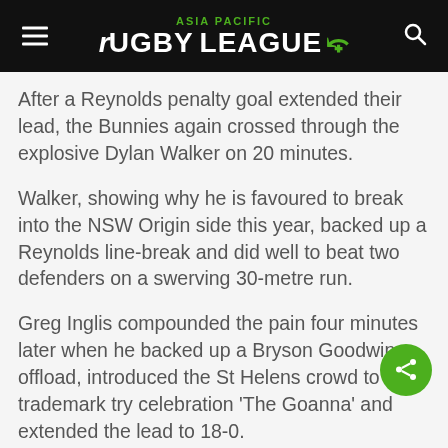ASIA PACIFIC RUGBY LEAGUE
After a Reynolds penalty goal extended their lead, the Bunnies again crossed through the explosive Dylan Walker on 20 minutes.
Walker, showing why he is favoured to break into the NSW Origin side this year, backed up a Reynolds line-break and did well to beat two defenders on a swerving 30-metre run.
Greg Inglis compounded the pain four minutes later when he backed up a Bryson Goodwin offload, introduced the St Helens crowd to his trademark try celebration 'The Goanna' and extended the lead to 18-0.
The 17,980-strong crowd were on the verge of begging for mercy after 31